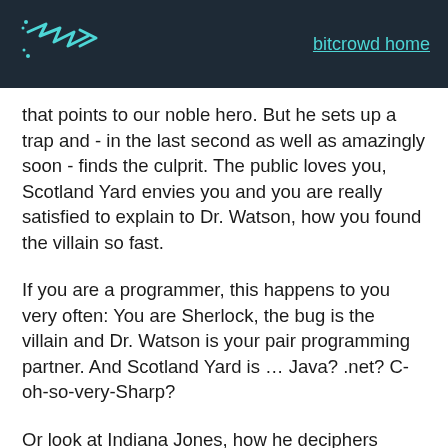bitcrowd home
that points to our noble hero. But he sets up a trap and - in the last second as well as amazingly soon - finds the culprit. The public loves you, Scotland Yard envies you and you are really satisfied to explain to Dr. Watson, how you found the villain so fast.
If you are a programmer, this happens to you very often: You are Sherlock, the bug is the villain and Dr. Watson is your pair programming partner. And Scotland Yard is … Java? .net? C-oh-so-very-Sharp?
Or look at Indiana Jones, how he deciphers